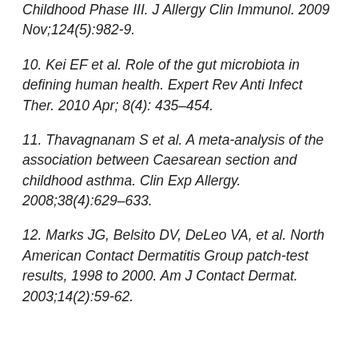Childhood Phase III. J Allergy Clin Immunol. 2009 Nov;124(5):982-9.
10. Kei EF et al. Role of the gut microbiota in defining human health. Expert Rev Anti Infect Ther. 2010 Apr; 8(4): 435–454.
11. Thavagnanam S et al. A meta-analysis of the association between Caesarean section and childhood asthma. Clin Exp Allergy. 2008;38(4):629–633.
12. Marks JG, Belsito DV, DeLeo VA, et al. North American Contact Dermatitis Group patch-test results, 1998 to 2000. Am J Contact Dermat. 2003;14(2):59-62.